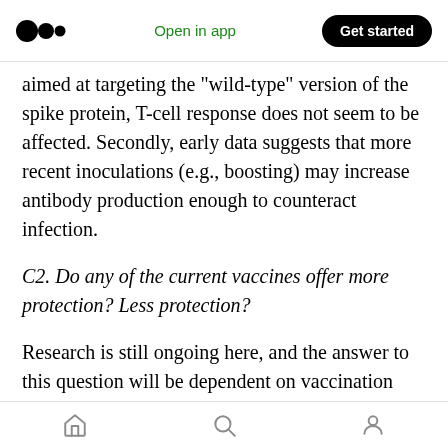Medium logo | Open in app | Get started
aimed at targeting the “wild-type” version of the spike protein, T-cell response does not seem to be affected. Secondly, early data suggests that more recent inoculations (e.g., boosting) may increase antibody production enough to counteract infection.
C2. Do any of the current vaccines offer more protection? Less protection?
Research is still ongoing here, and the answer to this question will be dependent on vaccination timing and level (e.g., boosters). With mix-and-
Home | Search | Profile